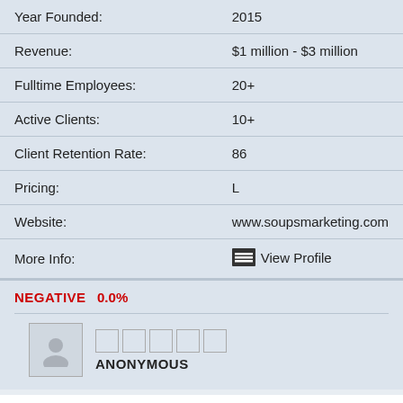| Field | Value |
| --- | --- |
| Year Founded: | 2015 |
| Revenue: | $1 million - $3 million |
| Fulltime Employees: | 20+ |
| Active Clients: | 10+ |
| Client Retention Rate: | 86 |
| Pricing: | L |
| Website: | www.soupsmarketing.com |
| More Info: | View Profile |
NEGATIVE  0.0%
ANONYMOUS
8. M&M Associates, Inc.